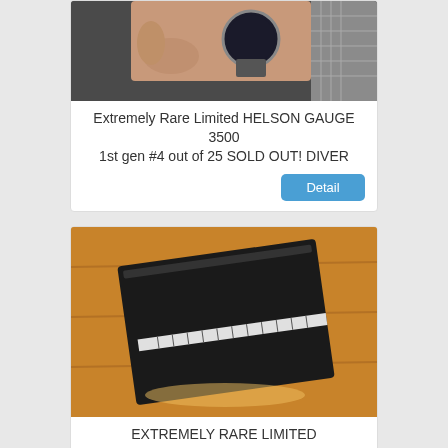[Figure (photo): Photo of a diver watch on a wrist, partially cropped at top]
Extremely Rare Limited HELSON GAUGE 3500 1st gen #4 out of 25 SOLD OUT! DIVER
[Figure (photo): Photo of a black watch or watch case on a wooden surface]
EXTREMELY RARE LIMITED PRODUCTION WATCH - White Diamonds To Case & To Dial!
[Figure (photo): Photo of a round watch with light dial on a blue strap, partially visible]